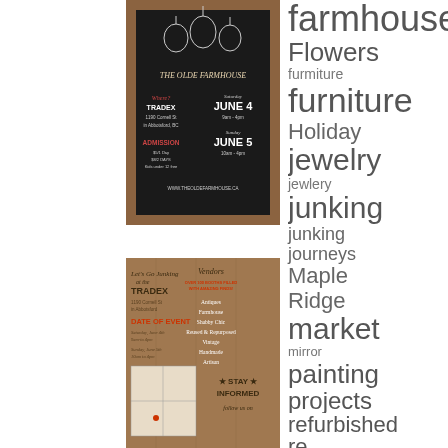[Figure (photo): Chalkboard style event flyer for The Olde Farmhouse market at Tradex, Abbotsford BC, June 4-5, with mason jar illustration]
[Figure (photo): Wooden board style event flyer for Let's Go Junking at the Tradex with vendor list including Antiques, Farmhouse, Shabby Chic, Reused and Repurposed, Vintage, Handmade, Artisan, and Stay Informed section]
farmhouse Flowers furmiture furniture Holiday jewelry jewlery junking junking journeys Maple Ridge market mirror painting projects refurbished re...